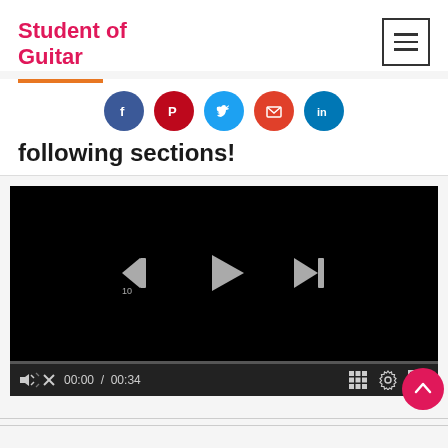Student of Guitar
following sections!
[Figure (screenshot): Video player with playback controls showing 00:00 / 00:34, rewind 10s, play, skip buttons, progress bar, volume, grid, settings, fullscreen icons, and scroll-to-top button]
[Figure (infographic): Social sharing buttons row: Facebook, Pinterest, Twitter, Email, LinkedIn circular icons]